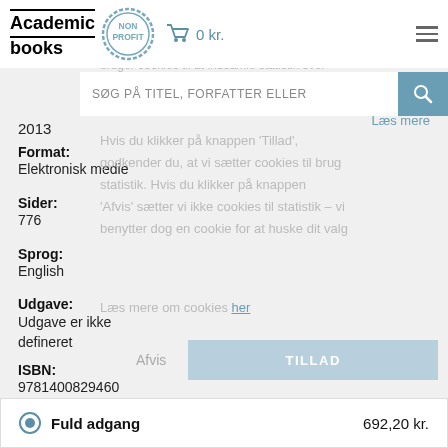[Figure (logo): Academic books logo with NON PROFIT stamp]
0 kr.
bruger cookies til at indsamle statistik over
SØG PÅ TITEL, FORFATTER ELLER
Hvis du klikker på knappen 'Tillad', godkender du, at vi sætter cookies til brug statistik. Hvis du klikker på knappen 'Afvis' sætter vi ikke cookies til statistik – vi benytter dog en cookie for at huske dit valg
Læs mere om cookies her
Læs mere
2013
Format:
Elektronisk medie
Sider:
776
Sprog:
English
Udgave:
Udgave er ikke defineret
ISBN:
9781400829460
Fuld adgang   692,20 kr.